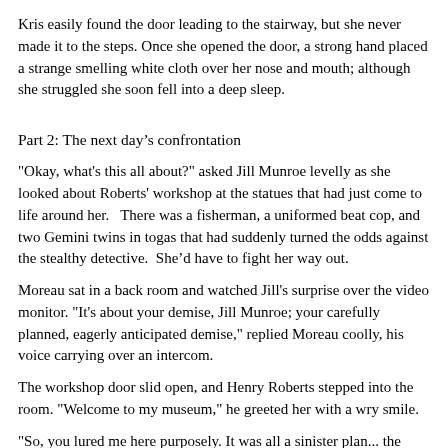Kris easily found the door leading to the stairway, but she never made it to the steps. Once she opened the door, a strong hand placed a strange smelling white cloth over her nose and mouth; although she struggled she soon fell into a deep sleep.
Part 2: The next day’s confrontation
"Okay, what's this all about?" asked Jill Munroe levelly as she looked about Roberts' workshop at the statues that had just come to life around her.   There was a fisherman, a uniformed beat cop, and two Gemini twins in togas that had suddenly turned the odds against the stealthy detective.  She’d have to fight her way out.
Moreau sat in a back room and watched Jill's surprise over the video monitor. "It's about your demise, Jill Munroe; your carefully planned, eagerly anticipated demise," replied Moreau coolly, his voice carrying over an intercom.
The workshop door slid open, and Henry Roberts stepped into the room. "Welcome to my museum," he greeted her with a wry smile.
"So, you lured me here purposely. It was all a sinister plan... the thefts, the riddles..." Jill said as the reanimated men circled her.